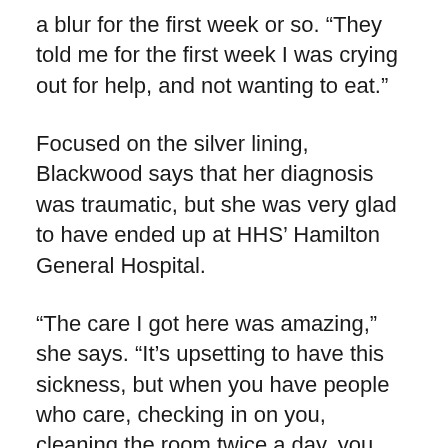a blur for the first week or so. “They told me for the first week I was crying out for help, and not wanting to eat.”
Focused on the silver lining, Blackwood says that her diagnosis was traumatic, but she was very glad to have ended up at HHS’ Hamilton General Hospital.
“The care I got here was amazing,” she says. “It’s upsetting to have this sickness, but when you have people who care, checking in on you, cleaning the room twice a day, you feel so cared for.”
It takes a special blend of compassion and courage to work on a COVID unit. Both 8 West and ICU South at HGH have been at the...